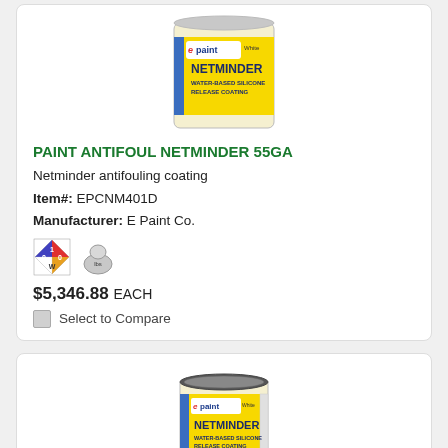[Figure (photo): EPaint Netminder water-based silicone release coating can (large, 55 gallon) with yellow label]
PAINT ANTIFOUL NETMINDER 55GA
Netminder antifouling coating
Item#: EPCNM401D
Manufacturer: E Paint Co.
[Figure (illustration): NFPA hazard diamond icon and weight/shipping icon]
$5,346.88 EACH
Select to Compare
[Figure (photo): EPaint Netminder water-based silicone release coating can (1 gallon) with yellow label]
PAINT ANTIFOUL NETMINDER GA
Netminder antifouling coating